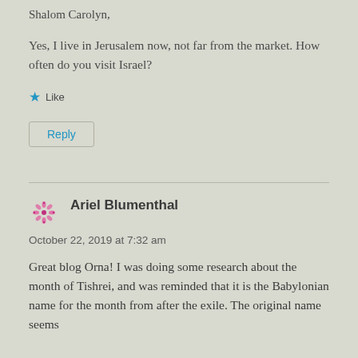Shalom Carolyn,
Yes, I live in Jerusalem now, not far from the market. How often do you visit Israel?
★ Like
Reply
Ariel Blumenthal
October 22, 2019 at 7:32 am
Great blog Orna! I was doing some research about the month of Tishrei, and was reminded that it is the Babylonian name for the month from after the exile. The original name seems